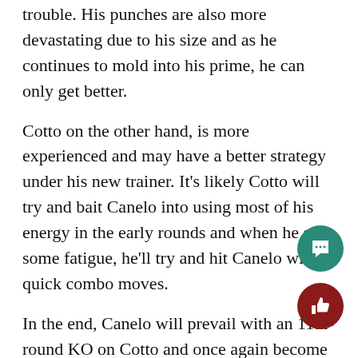trouble. His punches are also more devastating due to his size and as he continues to mold into his prime, he can only get better.
Cotto on the other hand, is more experienced and may have a better strategy under his new trainer. It's likely Cotto will try and bait Canelo into using most of his energy in the early rounds and when he sees some fatigue, he'll try and hit Canelo with quick combo moves.
In the end, Canelo will prevail with an 11th-round KO on Cotto and once again become champion. There is a lot riding on this fight, perhaps more for Cotto than Canelo. A Cotto loss could mean retirement. After a this will be his fourth fight after stating he would on fight three. The outcome of this fight will hold a defining moment for both boxers' careers.